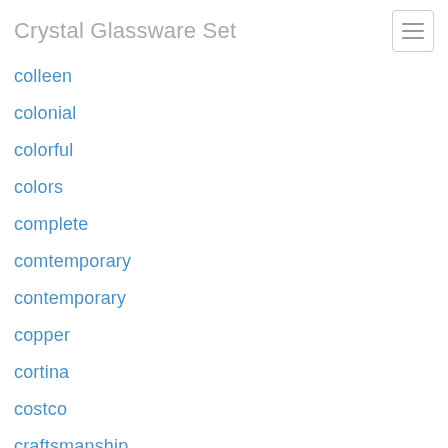Crystal Glassware Set
colleen
colonial
colorful
colors
complete
comtemporary
contemporary
copper
cortina
costco
craftsmanship
crate